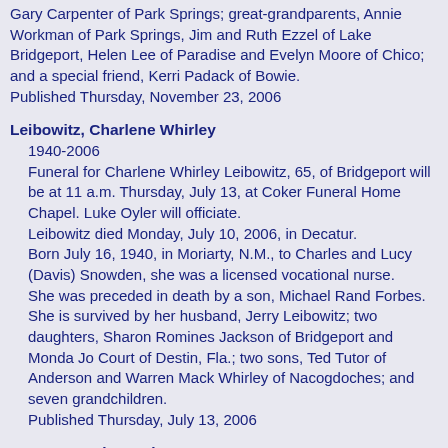Gary Carpenter of Park Springs; great-grandparents, Annie Workman of Park Springs, Jim and Ruth Ezzel of Lake Bridgeport, Helen Lee of Paradise and Evelyn Moore of Chico; and a special friend, Kerri Padack of Bowie. Published Thursday, November 23, 2006
Leibowitz, Charlene Whirley
1940-2006
Funeral for Charlene Whirley Leibowitz, 65, of Bridgeport will be at 11 a.m. Thursday, July 13, at Coker Funeral Home Chapel. Luke Oyler will officiate. Leibowitz died Monday, July 10, 2006, in Decatur. Born July 16, 1940, in Moriarty, N.M., to Charles and Lucy (Davis) Snowden, she was a licensed vocational nurse. She was preceded in death by a son, Michael Rand Forbes. She is survived by her husband, Jerry Leibowitz; two daughters, Sharon Romines Jackson of Bridgeport and Monda Jo Court of Destin, Fla.; two sons, Ted Tutor of Anderson and Warren Mack Whirley of Nacogdoches; and seven grandchildren. Published Thursday, July 13, 2006
Leseman, Eric Justice
2005
Graveside service for Eric Justice Leseman, the newborn son of Ray Leseman and Katie Kemper of Paradise, was to